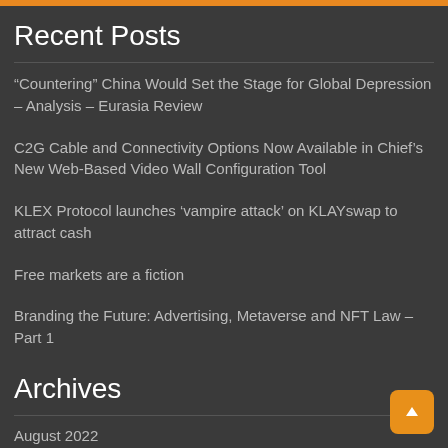Recent Posts
“Countering” China Would Set the Stage for Global Depression – Analysis – Eurasia Review
C2G Cable and Connectivity Options Now Available in Chief’s New Web-Based Video Wall Configuration Tool
KLEX Protocol launches ‘vampire attack’ on KLAYswap to attract cash
Free markets are a fiction
Branding the Future: Advertising, Metaverse and NFT Law – Part 1
Archives
August 2022
July 2022
June 2022
May 2022